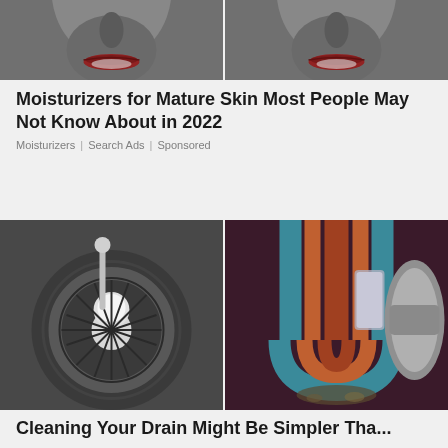[Figure (photo): Two side-by-side photos of a woman's lower face showing lips and nose, used as ad image for moisturizers]
Moisturizers for Mature Skin Most People May Not Know About in 2022
Moisturizers | Search Ads | Sponsored
[Figure (photo): Two side-by-side photos: left shows a sink drain with white substance, right shows a colorful pipe cross-section illustration]
Cleaning Your Drain Might Be Simpler Tha...